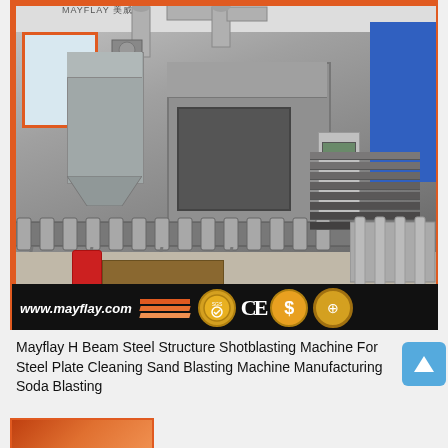[Figure (photo): Industrial factory interior showing a Mayflay shot blasting machine with conveyor rollers, dust collectors, ductwork, and stacked steel plates. The image has an orange border frame. At the bottom of the image is a black banner showing www.mayflay.com and certification badges (SGS, CE, dollar sign, recycling symbol).]
Mayflay H Beam Steel Structure Shotblasting Machine For Steel Plate Cleaning Sand Blasting Machine Manufacturing Soda Blasting
[Figure (photo): Partial view of another product image at bottom of page, showing orange-colored machinery.]